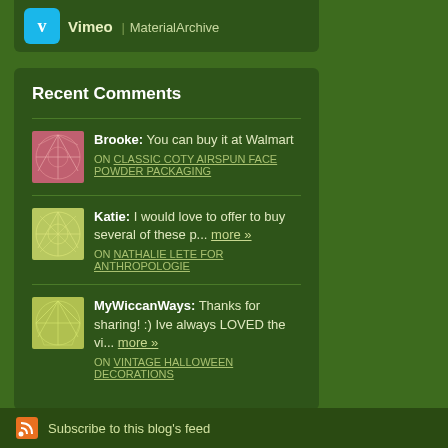[Figure (logo): Vimeo logo icon (blue rounded square with V) followed by text 'Vimeo | MaterialArchive']
Recent Comments
Brooke: You can buy it at Walmart
ON CLASSIC COTY AIRSPUN FACE POWDER PACKAGING
Katie: I would love to offer to buy several of these p... more »
ON NATHALIE LETE FOR ANTHROPOLOGIE
MyWiccanWays: Thanks for sharing! :) Ive always LOVED the vi... more »
ON VINTAGE HALLOWEEN DECORATIONS
Subscribe to this blog's feed